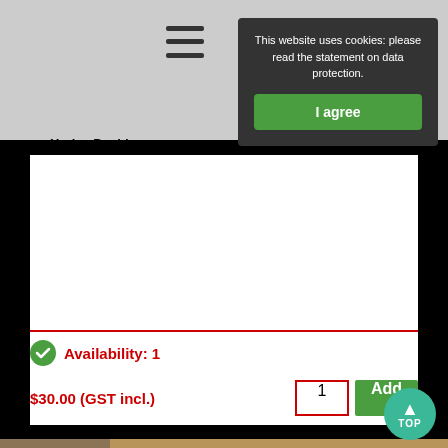[Figure (screenshot): Website header bar with hamburger menu icon on gray background]
This website uses cookies: please read the statement on data protection.
I agree
Harley Davidson s
Availability: 1
$30.00 (GST incl.)
1
Add
[Figure (photo): Chrome Harley Davidson part in plastic wrap on brown cardboard background, handwritten label showing price 2.]